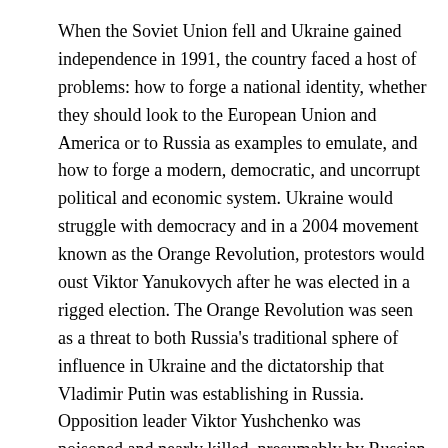When the Soviet Union fell and Ukraine gained independence in 1991, the country faced a host of problems: how to forge a national identity, whether they should look to the European Union and America or to Russia as examples to emulate, and how to forge a modern, democratic, and uncorrupt political and economic system. Ukraine would struggle with democracy and in a 2004 movement known as the Orange Revolution, protestors would oust Viktor Yanukovych after he was elected in a rigged election. The Orange Revolution was seen as a threat to both Russia's traditional sphere of influence in Ukraine and the dictatorship that Vladimir Putin was establishing in Russia. Opposition leader Viktor Yushchenko was poisoned and nearly killed, presumably by Russian agents, but he still lived and was elected.[9] Yushchenko's attempts at reform failed and he was ironically later replaced by the formerly ousted